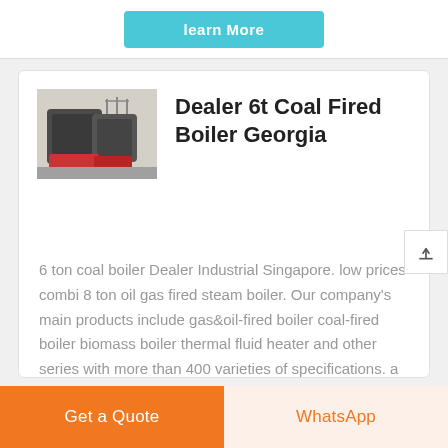[Figure (other): Cyan/teal Learn More button at top of page]
[Figure (photo): Industrial coal-fired boiler equipment in a warehouse/factory setting, showing large dark cylindrical boiler units with red components]
Dealer 6t Coal Fired Boiler Georgia
6 ton coal boiler Dealer Industrial Singapore. low prices combi 8 ton oil gas fired steam boiler. Our company's main products include gas&oil-fired boiler coal-fired boiler biomass boiler thermal fluid heater and other series with more than 400 varieties of specifications. a low-load house as
Get a Quote
WhatsApp